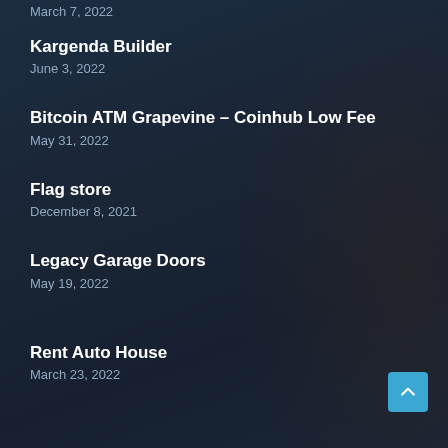March 7, 2022
Kargenda Builder
June 3, 2022
Bitcoin ATM Grapevine – Coinhub Low Fee
May 31, 2022
Flag store
December 8, 2021
Legacy Garage Doors
May 19, 2022
Rent Auto House
March 23, 2022